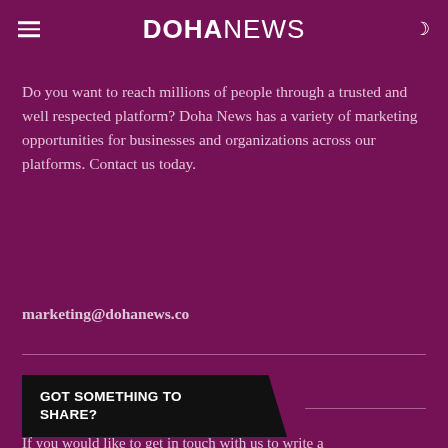DOHANEWS
Do you want to reach millions of people through a trusted and well respected platform? Doha News has a variety of marketing opportunities for businesses and organizations across our platforms. Contact us today.
marketing@dohanews.co
GOT SOMETHING TO SHARE?
If you would like to get in touch with us to write a